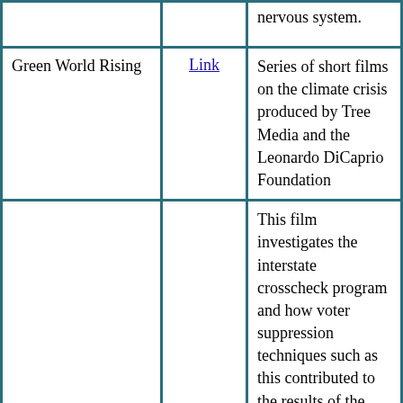| Title | Link | Description |
| --- | --- | --- |
|  |  | nervous system. |
| Green World Rising | Link | Series of short films on the climate crisis produced by Tree Media and the Leonardo DiCaprio Foundation |
| The Best Democracy Money Can Buy | Link | This film investigates the interstate crosscheck program and how voter suppression techniques such as this contributed to the results of the recent election. Greg Palast also investigates the people behind this vote purging technique and why they put so much money and effort into promoting its use. This film explores how the gutting of the Voting Rights Act by the Supreme Court a few years ago and the Citizens United Case both gave foundation to perpetuating more and more of these voter suppression techniques in several key election states. Why this isn't front page news is beyond me. None of the mainstream media outlets would cover this story. This film is done in an entertaining way but the message and |